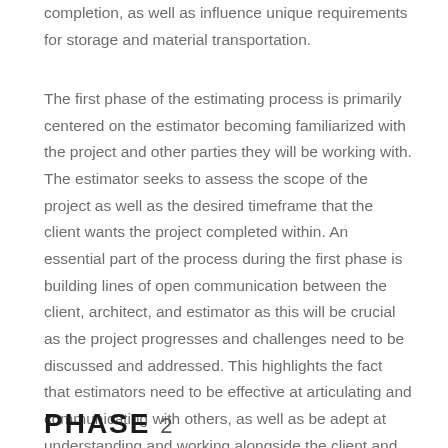completion, as well as influence unique requirements for storage and material transportation.
The first phase of the estimating process is primarily centered on the estimator becoming familiarized with the project and other parties they will be working with. The estimator seeks to assess the scope of the project as well as the desired timeframe that the client wants the project completed within. An essential part of the process during the first phase is building lines of open communication between the client, architect, and estimator as this will be crucial as the project progresses and challenges need to be discussed and addressed. This highlights the fact that estimators need to be effective at articulating and communicating with others, as well as be adept at understanding and working alongside the client and architect.
PHASE 2